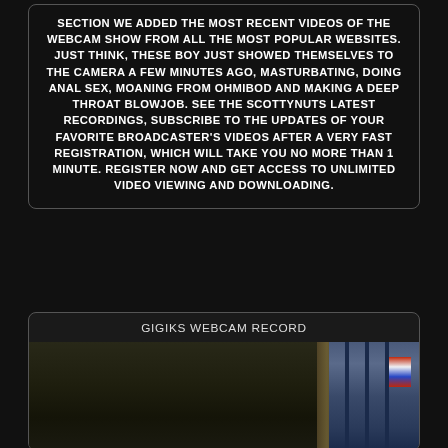SECTION WE ADDED THE MOST RECENT VIDEOS OF THE WEBCAM SHOW FROM ALL THE MOST POPULAR WEBSITES. JUST THINK, THESE BOY JUST SHOWED THEMSELVES TO THE CAMERA A FEW MINUTES AGO, MASTURBATING, DOING ANAL SEX, MOANING FROM OHMIBOD AND MAKING A DEEP THROAT BLOWJOB. SEE THE SCOTTYNUTS LATEST RECORDINGS, SUBSCRIBE TO THE UPDATES OF YOUR FAVORITE BROADCASTER'S VIDEOS AFTER A VERY FAST REGISTRATION, WHICH WILL TAKE YOU NO MORE THAN 1 MINUTE. REGISTER NOW AND GET ACCESS TO UNLIMITED VIDEO VIEWING AND DOWNLOADING.
GIGIKS WEBCAM RECORD
[Figure (photo): A dark indoor room scene with a window on the right side showing light, curtains, and what appears to be a decorative flag or banner visible through the window.]